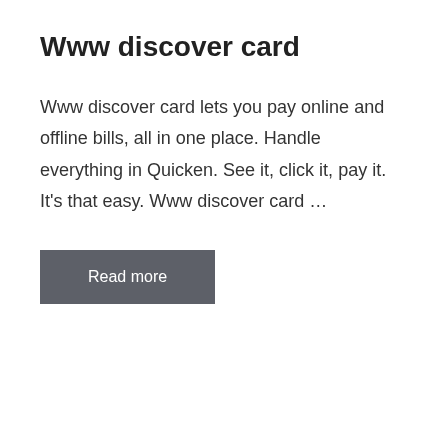Www discover card
Www discover card lets you pay online and offline bills, all in one place. Handle everything in Quicken. See it, click it, pay it. It's that easy. Www discover card …
Read more